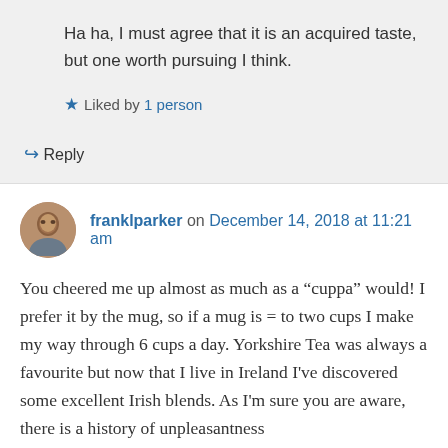Ha ha, I must agree that it is an acquired taste, but one worth pursuing I think.
Liked by 1 person
↳ Reply
franklparker on December 14, 2018 at 11:21 am
You cheered me up almost as much as a “cuppa” would! I prefer it by the mug, so if a mug is = to two cups I make my way through 6 cups a day. Yorkshire Tea was always a favourite but now that I live in Ireland I've discovered some excellent Irish blends. As I'm sure you are aware, there is a history of unpleasantness...